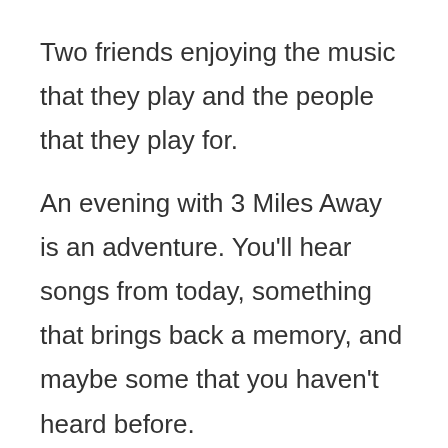Two friends enjoying the music that they play and the people that they play for.
An evening with 3 Miles Away is an adventure. You'll hear songs from today, something that brings back a memory, and maybe some that you haven't heard before.
Watching the band, it's hard to tell